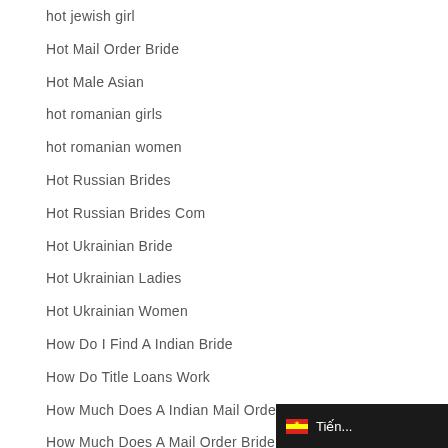hot jewish girl
Hot Mail Order Bride
Hot Male Asian
hot romanian girls
hot romanian women
Hot Russian Brides
Hot Russian Brides Com
Hot Ukrainian Bride
Hot Ukrainian Ladies
Hot Ukrainian Women
How Do I Find A Indian Bride
How Do Title Loans Work
How Much Does A Indian Mail Order Bride Cost
How Much Does A Mail Order Bride Cost
How Much For A Russian Bride